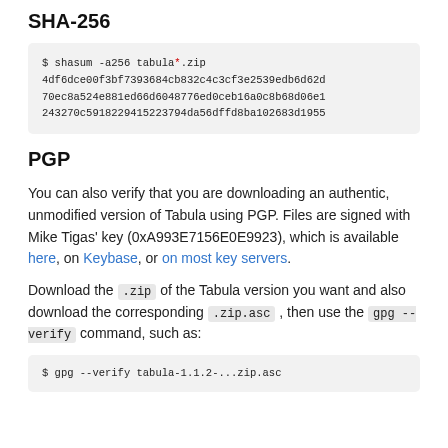SHA-256
$ shasum -a256 tabula*.zip
4df6dce00f3bf7393684cb832c4c3cf3e2539edb6d62d
70ec8a524e881ed66d6048776ed0ceb16a0c8b68d06e1
243270c5918229415223794da56dffd8ba102683d1955
PGP
You can also verify that you are downloading an authentic, unmodified version of Tabula using PGP. Files are signed with Mike Tigas' key (0xA993E7156E0E9923), which is available here, on Keybase, or on most key servers.
Download the .zip of the Tabula version you want and also download the corresponding .zip.asc , then use the gpg --verify command, such as:
$ gpg --verify tabula-1.1.2-...zip.asc